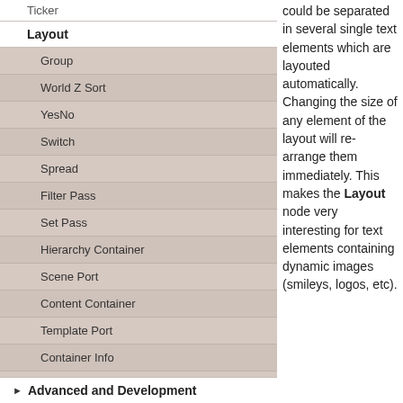Ticker
Layout
Group
World Z Sort
YesNo
Switch
Spread
Filter Pass
Set Pass
Hierarchy Container
Scene Port
Content Container
Template Port
Container Info
Camera
Paths
Advanced and Development
could be separated in several single text elements which are layouted automatically. Changing the size of any element of the layout will re-arrange them immediately. This makes the Layout node very interesting for text elements containing dynamic images (smileys, logos, etc).
[Figure (screenshot): A gray gradient image box at the bottom right of the page]